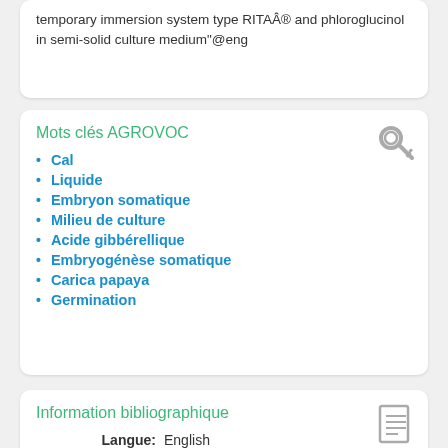temporary immersion system type RITAÂ® and phloroglucinol in semi-solid culture medium"@eng
Mots clés AGROVOC
Cal
Liquide
Embryon somatique
Milieu de culture
Acide gibbérellique
Embryogénèse somatique
Carica papaya
Germination
Information bibliographique
Langue: English
Type: Journal Article
Sur AGRIS